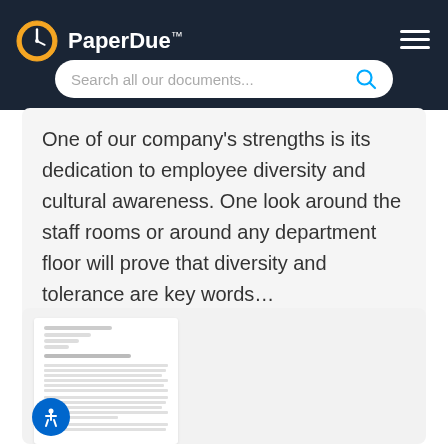PaperDue™
One of our company's strengths is its dedication to employee diversity and cultural awareness. One look around the staff rooms or around any department floor will prove that diversity and tolerance are key words…
[Figure (screenshot): Thumbnail preview of a document page with small text lines]